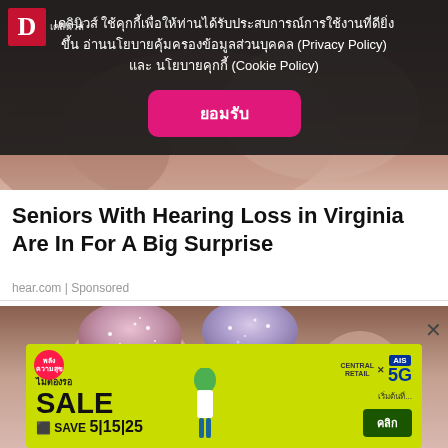[Figure (screenshot): Top background image showing close-up of skin/nails with pink tones, partially obscured by cookie consent overlay]
เดลินิวส์ ใช้คุกกี้เพื่อให้ท่านได้รับประสบการณ์การใช้งานที่ดียิ่งขึ้น อ่านนโยบายคุ้มครองข้อมูลส่วนบุคคล (Privacy Policy) และ นโยบายคุกกี้ (Cookie Policy)
ยอมรับ
Seniors With Hearing Loss in Virginia Are In For A Big Surprise
hear.com | Sponsored
[Figure (photo): Close-up photo of fingers with glittery/sparkly nail polish, pink and purple tones with glitter effect]
[Figure (screenshot): Green advertisement banner for SALE/SAVE promotion by Central Retail x AIS 5G, showing 5|15|25 discount numbers and animated character]